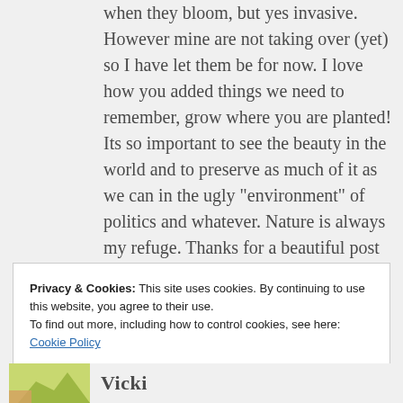when they bloom, but yes invasive. However mine are not taking over (yet) so I have let them be for now. I love how you added things we need to remember, grow where you are planted! Its so important to see the beauty in the world and to preserve as much of it as we can in the ugly “environment” of politics and whatever. Nature is always my refuge. Thanks for a beautiful post
Privacy & Cookies: This site uses cookies. By continuing to use this website, you agree to their use.
To find out more, including how to control cookies, see here:
Cookie Policy
Close and accept
Vicki